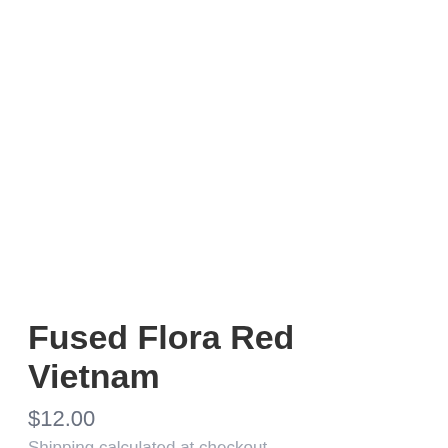Fused Flora Red Vietnam
$12.00
Shipping calculated at checkout